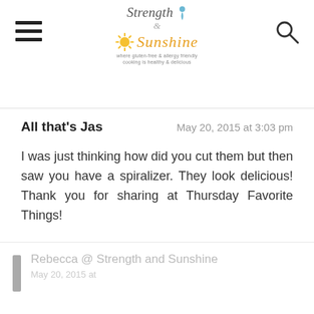Strength & Sunshine — site logo header
All that's Jas
May 20, 2015 at 3:03 pm
I was just thinking how did you cut them but then saw you have a spiralizer. They look delicious! Thank you for sharing at Thursday Favorite Things!
REPLY
Rebecca @ Strength and Sunshine
May 20, 2015 at